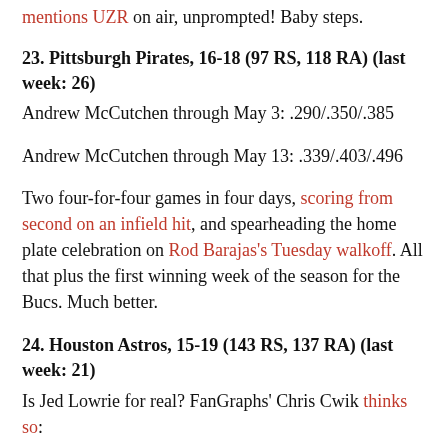mentions UZR on air, unprompted! Baby steps.
23. Pittsburgh Pirates, 16-18 (97 RS, 118 RA) (last week: 26)
Andrew McCutchen through May 3: .290/.350/.385
Andrew McCutchen through May 13: .339/.403/.496
Two four-for-four games in four days, scoring from second on an infield hit, and spearheading the home plate celebration on Rod Barajas’s Tuesday walkoff. All that plus the first winning week of the season for the Bucs. Much better.
24. Houston Astros, 15-19 (143 RS, 137 RA) (last week: 21)
Is Jed Lowrie for real? FanGraphs’ Chris Cwik thinks so:
Jed Lowrie has arrived. After four injury riddled seasons with the Boston Red Sox, the 28-year-old shortstop is experiencing a breakout year with the Houston Astros. Lowrie’s performance makes him one of the most exciting players on a Houston team